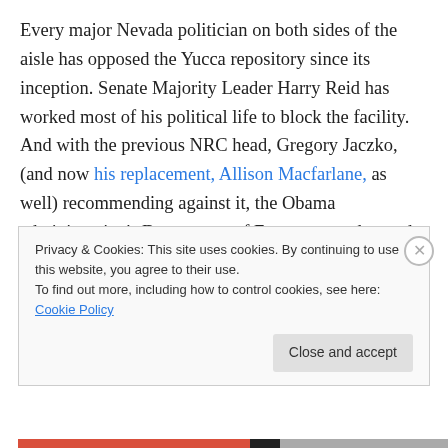Every major Nevada politician on both sides of the aisle has opposed the Yucca repository since its inception. Senate Majority Leader Harry Reid has worked most of his political life to block the facility. And with the previous NRC head, Gregory Jaczko, (and now his replacement, Allison Macfarlane, as well) recommending against it, the Obama administration's Department of Energy moved to end the project.
Even if it were an active option, Yucca Mountain would still be many years and maybe as much as $100 million away
Privacy & Cookies: This site uses cookies. By continuing to use this website, you agree to their use.
To find out more, including how to control cookies, see here: Cookie Policy